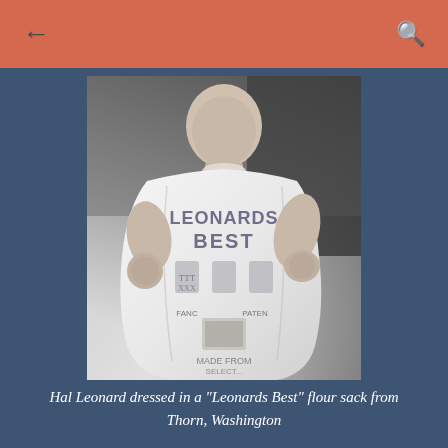← [back] [search]
[Figure (photo): Black and white photograph of baby Hal Leonard dressed in a 'Leonards Best' flour sack from Thorn, Washington. The baby is wearing a white flour sack as a garment with the brand text 'LEONARDS BEST' visible on the front, along with decorative text and imagery typical of flour sack branding including 'FANCY PATENT' and 'MADE FROM' text.]
Hal Leonard dressed in a "Leonards Best" flour sack from Thorn, Washington